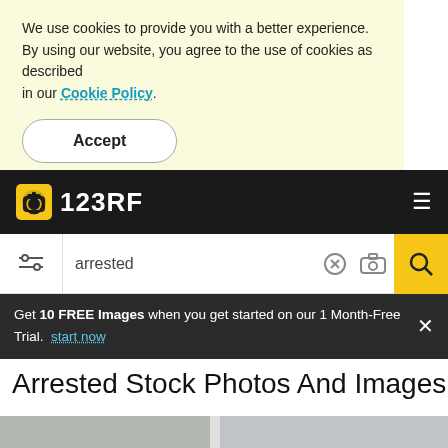We use cookies to provide you with a better experience. By using our website, you agree to the use of cookies as described in our Cookie Policy.
Accept
123RF
arrested
Get 10 FREE Images when you get started on our 1 Month-Free Trial. start now
Arrested Stock Photos And Images
[Figure (photo): Stock photo image preview at bottom of page showing a police officer and a car]